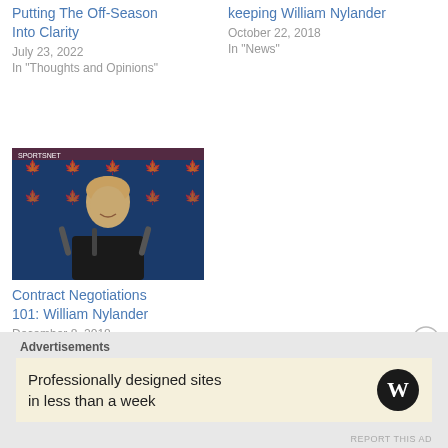Putting The Off-Season Into Clarity
July 23, 2022
In "Thoughts and Opinions"
keeping William Nylander
October 22, 2018
In "News"
[Figure (photo): William Nylander smiling at a press conference in front of Toronto Maple Leafs branded backdrop with microphones]
Contract Negotiations 101: William Nylander
December 8, 2018
In "News"
Categories: Thoughts And Opinions
Advertisements
Professionally designed sites in less than a week